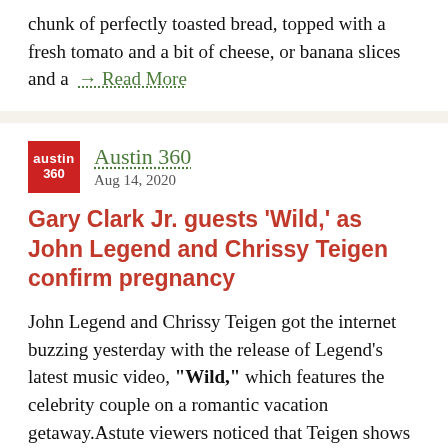chunk of perfectly toasted bread, topped with a fresh tomato and a bit of cheese, or banana slices and a → Read More
[Figure (logo): Austin 360 logo: red square with white text 'austin 360']
Austin 360
Aug 14, 2020
Gary Clark Jr. guests 'Wild,' as John Legend and Chrissy Teigen confirm pregnancy
John Legend and Chrissy Teigen got the internet buzzing yesterday with the release of Legend's latest music video, "Wild," which features the celebrity couple on a romantic vacation getaway.Astute viewers noticed that Teigen shows off a slight baby bump in the video's closing montage, as the couple gazes out at the ocean while flanked by their two children, Luna and Miles, and a pair of... → Read More